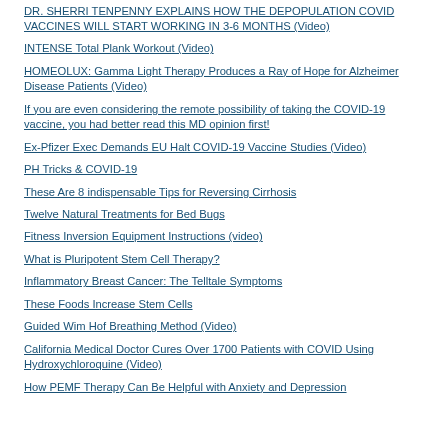DR. SHERRI TENPENNY EXPLAINS HOW THE DEPOPULATION COVID VACCINES WILL START WORKING IN 3-6 MONTHS (Video)
INTENSE Total Plank Workout (Video)
HOMEOLUX: Gamma Light Therapy Produces a Ray of Hope for Alzheimer Disease Patients (Video)
If you are even considering the remote possibility of taking the COVID-19 vaccine, you had better read this MD opinion first!
Ex-Pfizer Exec Demands EU Halt COVID-19 Vaccine Studies (Video)
PH Tricks & COVID-19
These Are 8 indispensable Tips for Reversing Cirrhosis
Twelve Natural Treatments for Bed Bugs
Fitness Inversion Equipment Instructions (video)
What is Pluripotent Stem Cell Therapy?
Inflammatory Breast Cancer: The Telltale Symptoms
These Foods Increase Stem Cells
Guided Wim Hof Breathing Method (Video)
California Medical Doctor Cures Over 1700 Patients with COVID Using Hydroxychloroquine (Video)
How PEMF Therapy Can Be Helpful with Anxiety and Depression